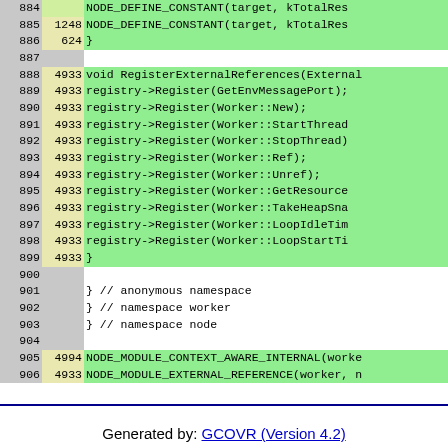[Figure (screenshot): Code coverage table showing source lines 884-906 with line numbers, hit counts, and source code. Covered lines highlighted in green. Uncovered lines in white/grey.]
Generated by: GCOVR (Version 4.2)